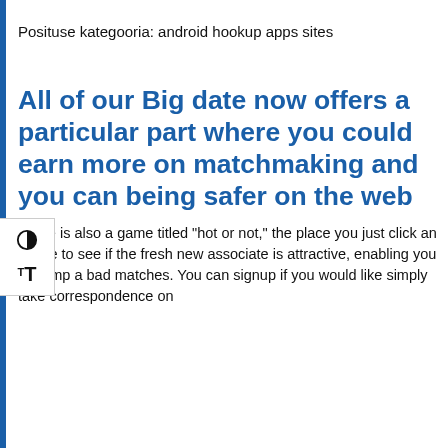Posituse kategooria: android hookup apps sites
All of our Big date now offers a particular part where you could earn more on matchmaking and you can being safer on the web
There is also a game titled "hot or not," the place you just click an image to see if the fresh new associate is attractive, enabling you to dump a bad matches. You can signup if you would like simply take correspondence on